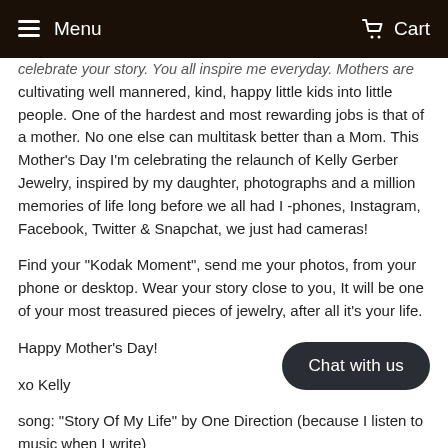Menu   Cart
celebrate your story. You all inspire me everyday. Mothers are cultivating well mannered, kind, happy little kids into little people. One of the hardest and most rewarding jobs is that of a mother. No one else can multitask better than a Mom. This Mother's Day I'm celebrating the relaunch of Kelly Gerber Jewelry, inspired by my daughter, photographs and a million memories of life long before we all had I -phones, Instagram, Facebook, Twitter & Snapchat, we just had cameras!
Find your "Kodak Moment", send me your photos, from your phone or desktop. Wear your story close to you, It will be one of your most treasured pieces of jewelry, after all it's your life.
Happy Mother's Day!
xo Kelly
song: "Story Of My Life" by One Direction (because I listen to music when I write)
[Figure (other): Chat with us button overlay]